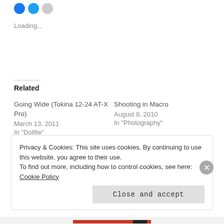[Figure (other): Social share icons: blue circle, blue circle, gray circle]
Loading...
Related
Going Wide (Tokina 12-24 AT-X Pro)
March 13, 2011
In "Dollfie"
Shooting in Macro
August 8, 2010
In "Photography"
New outfit for Yoko
May 11, 2010
In "Dollfie"
Privacy & Cookies: This site uses cookies. By continuing to use this website, you agree to their use.
To find out more, including how to control cookies, see here: Cookie Policy
Close and accept